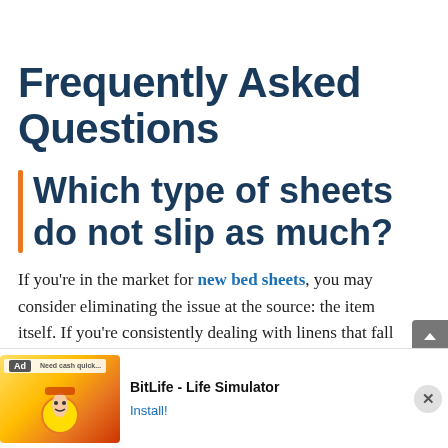Frequently Asked Questions
Which type of sheets do not slip as much?
If you're in the market for new bed sheets, you may consider eliminating the issue at the source: the item itself. If you're consistently dealing with linens that fall over, this would be an excellent material that you
[Figure (screenshot): Advertisement banner for BitLife - Life Simulator app with 'Ad' badge, colorful game imagery, app name, and Install button with close (X) button]